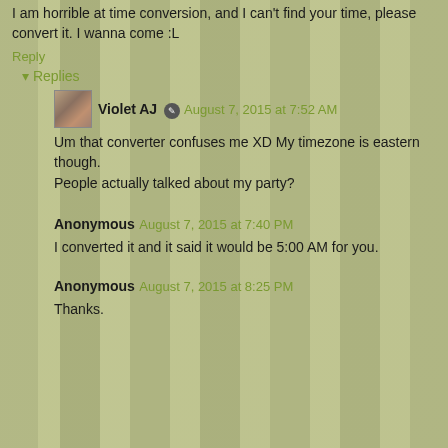I am horrible at time conversion, and I can't find your time, please convert it. I wanna come :L
Reply
Replies
Violet AJ  August 7, 2015 at 7:52 AM
Um that converter confuses me XD My timezone is eastern though.
People actually talked about my party?
Anonymous  August 7, 2015 at 7:40 PM
I converted it and it said it would be 5:00 AM for you.
Anonymous  August 7, 2015 at 8:25 PM
Thanks.